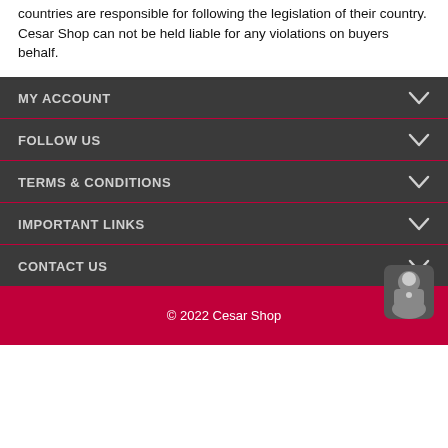countries are responsible for following the legislation of their country. Cesar Shop can not be held liable for any violations on buyers behalf.
MY ACCOUNT
FOLLOW US
TERMS & CONDITIONS
IMPORTANT LINKS
CONTACT US
© 2022 Cesar Shop